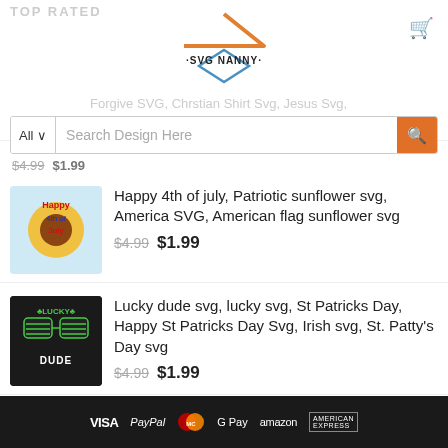TOP RATED
[Figure (logo): SVG Nanny logo with house/diamond shape in orange and blue]
Forgive SVG, Christian Shirt Svg, Jesus Svg,
All  Search Design Here
$4.99  $1.99
[Figure (photo): Happy 4th of July patriotic sunflower SVG product thumbnail]
Happy 4th of july, Patriotic sunflower svg, America SVG, American flag sunflower svg
$4.99  $1.99
[Figure (photo): Lucky Dude St Patricks Day SVG product thumbnail with sunglasses]
Lucky dude svg, lucky svg, St Patricks Day, Happy St Patricks Day Svg, Irish svg, St. Patty's Day svg
$4.99  $1.99
Hands rolling a blunt svg, hands lighting a blunt svg, rolling blunt svg, rolling tray svg
$4.99  $1.99
VISA  PayPal  Mastercard  G Pay  amazon  AMERICAN EXPRESS